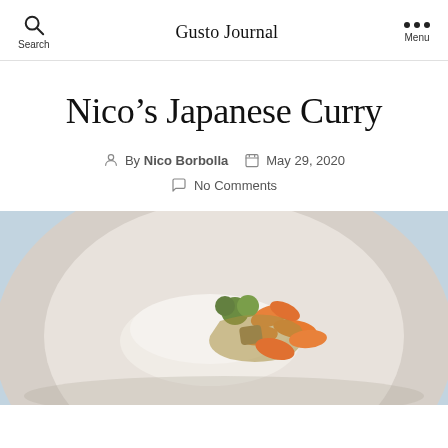Gusto Journal
Nico’s Japanese Curry
By Nico Borbolla   May 29, 2020
No Comments
[Figure (photo): Overhead photo of Japanese curry with carrots and vegetables served over white rice on a ceramic plate, light blue background]